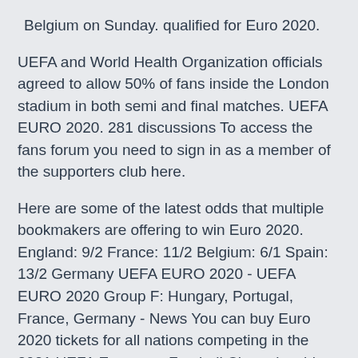Belgium on Sunday. qualified for Euro 2020.
UEFA and World Health Organization officials agreed to allow 50% of fans inside the London stadium in both semi and final matches. UEFA EURO 2020. 281 discussions To access the fans forum you need to sign in as a member of the supporters club here.
Here are some of the latest odds that multiple bookmakers are offering to win Euro 2020. England: 9/2 France: 11/2 Belgium: 6/1 Spain: 13/2 Germany UEFA EURO 2020 - UEFA EURO 2020 Group F: Hungary, Portugal, France, Germany - News You can buy Euro 2020 tickets for all nations competing in the 2021 UEFA European Football Championship. Livefootballtickets.com is the online marketplace with